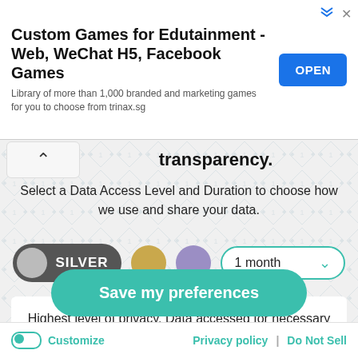[Figure (screenshot): Advertisement banner for Custom Games for Edutainment - Web, WeChat H5, Facebook Games with an OPEN button]
transparency.
Select a Data Access Level and Duration to choose how we use and share your data.
[Figure (infographic): Data access level selector: SILVER toggle selected (dark grey), gold circle, purple circle, and 1 month dropdown]
Highest level of privacy. Data accessed for necessary basic operations only. Data shared with 3rd parties to ensure the site is secure and works on your device
Save my preferences
Customize   Privacy policy  |  Do Not Sell